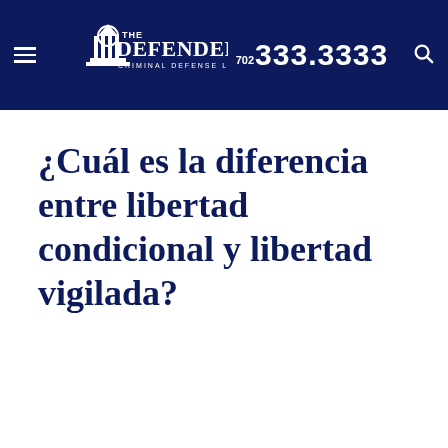The Defenders Criminal Defense Lawyers | 702 333.3333
¿Cuál es la diferencia entre libertad condicional y libertad vigilada?